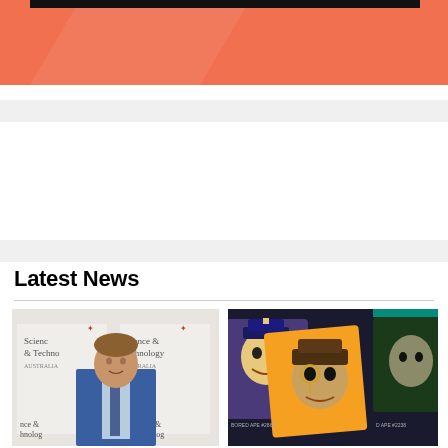[Figure (illustration): Orange/coral colored banner with a black bar at the top, decorative diagonal light stripe]
[Figure (illustration): Light gray horizontal strip/banner]
[Figure (illustration): Light gray horizontal strip above Latest News section]
Latest News
[Figure (photo): Photo of a man in a blue suit standing in front of Science & Technology Australia banners/backdrop]
[Figure (photo): Photo showing NFT Bored Ape Yacht Club digital art cards on a dark background with one orange card in foreground]